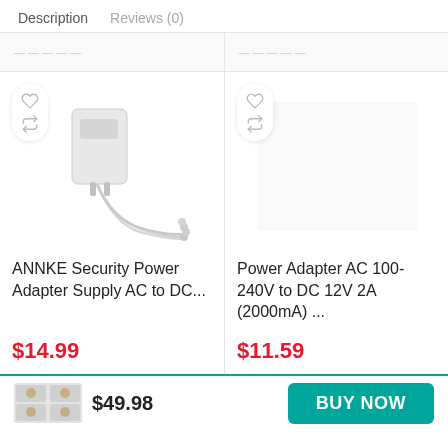Description   Reviews (0)
[Figure (photo): Product image area - ANNKE Security Power Adapter with cables]
ANNKE Security Power Adapter Supply AC to DC...
$14.99
[Figure (photo): Product image area - Power Adapter AC 100-240V (blank/empty)]
Power Adapter AC 100-240V to DC 12V 2A (2000mA) ...
$11.59
$49.98
BUY NOW